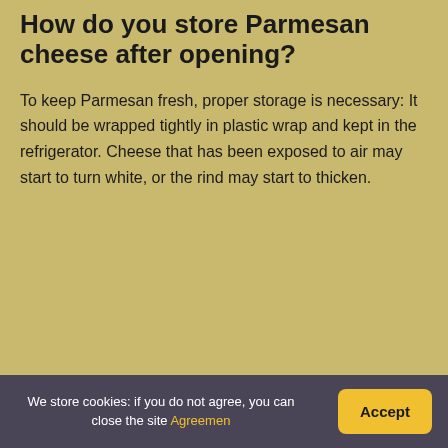How do you store Parmesan cheese after opening?
To keep Parmesan fresh, proper storage is necessary: It should be wrapped tightly in plastic wrap and kept in the refrigerator. Cheese that has been exposed to air may start to turn white, or the rind may start to thicken.
We store cookies: if you do not agree, you can close the site Agreemen  Accept